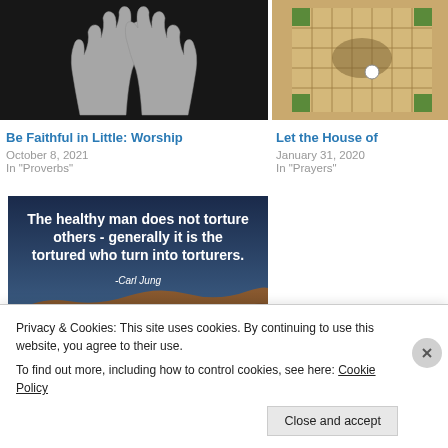[Figure (photo): Black and white photo of two hands raised upward against a dark background]
Be Faithful in Little: Worship
October 8, 2021
In "Proverbs"
[Figure (photo): Partially visible image of a board game or map with grid squares in tan and green]
Let the House of
January 31, 2020
In "Prayers"
[Figure (photo): Quote image with white bold text on a background showing a desert rock formation. Text reads: The healthy man does not torture others - generally it is the tortured who turn into torturers. -Carl Jung]
Privacy & Cookies: This site uses cookies. By continuing to use this website, you agree to their use.
To find out more, including how to control cookies, see here: Cookie Policy
Close and accept